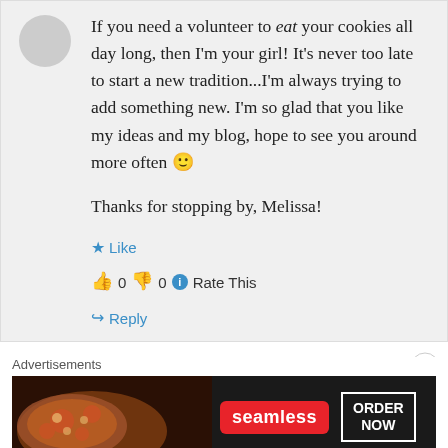If you need a volunteer to eat your cookies all day long, then I'm your girl! It's never too late to start a new tradition...I'm always trying to add something new. I'm so glad that you like my ideas and my blog, hope to see you around more often 🙂

Thanks for stopping by, Melissa!
★ Like
👍 0 👎 0 ℹ Rate This
↪ Reply
Advertisements
[Figure (other): Seamless food delivery advertisement banner with pizza image on the left, Seamless logo in red, and ORDER NOW button on the right against a dark background.]